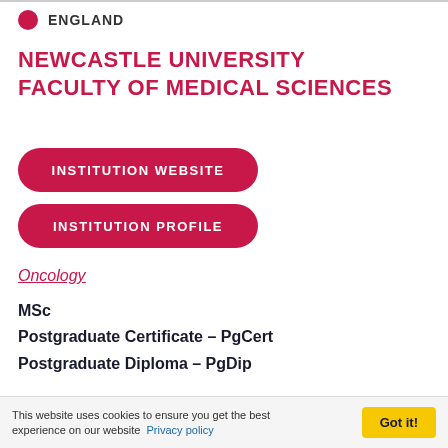ENGLAND
NEWCASTLE UNIVERSITY FACULTY OF MEDICAL SCIENCES
INSTITUTION WEBSITE
INSTITUTION PROFILE
Oncology
MSc
Postgraduate Certificate – PgCert
Postgraduate Diploma – PgDip
Oncology for the Pharmaceutical Industry
This website uses cookies to ensure you get the best experience on our website Privacy policy Got it!